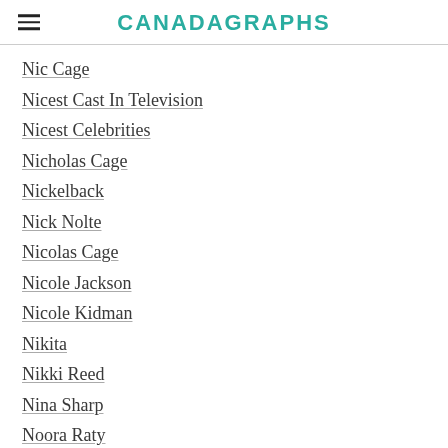CANADAGRAPHS
Nic Cage
Nicest Cast In Television
Nicest Celebrities
Nicholas Cage
Nickelback
Nick Nolte
Nicolas Cage
Nicole Jackson
Nicole Kidman
Nikita
Nikki Reed
Nina Sharp
Noora Raty
No Ordinary Family